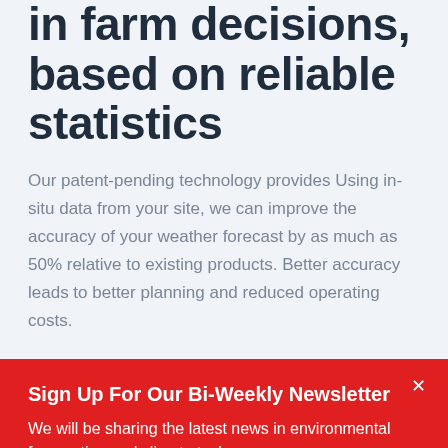in farm decisions, based on reliable statistics
Our patent-pending technology provides Using in-situ data from your site, we can improve the accuracy of your weather forecast by as much as 50% relative to existing products. Better accuracy leads to better planning and reduced operating costs.
Sign Up For Our Bi-Weekly Newsletter
We will be sharing the latest news in environmental forecasting and climate tech.
Subscribe now